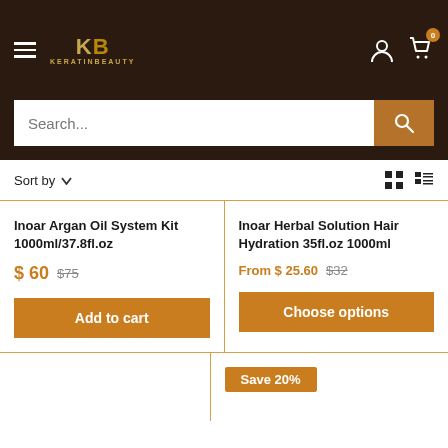[Figure (logo): KeratinBeauty logo with KB monogram in gold on dark brown header]
Search...
Sort by
Inoar Argan Oil System Kit 1000ml/37.8fl.oz
$ 60  $75
Add to cart
Inoar Herbal Solution Hair Hydration 35fl.oz 1000ml
From $ 25.60  $32
Choose options
Save 20%